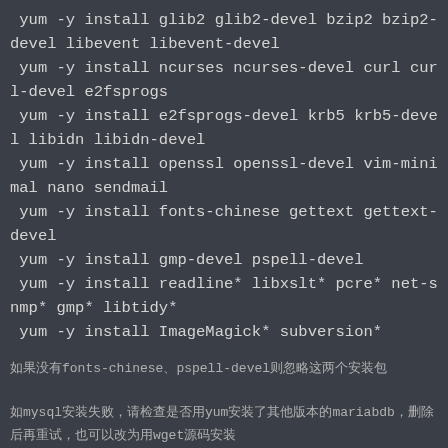yum -y install glib2 glib2-devel bzip2 bzip2-devel libevent libevent-devel
 yum -y install ncurses ncurses-devel curl curl-devel e2fsprogs
 yum -y install e2fsprogs-devel krb5 krb5-devel libidn libidn-devel
 yum -y install openssl openssl-devel vim-minimal nano sendmail
 yum -y install fonts-chinese gettext gettext-devel
 yum -y install gmp-devel pspell-devel
 yum -y install readline* libxslt* pcre* net-snmp* gmp* libtidy*
 yum -y install ImageMagick* subversion*
如果没有fonts-chinese、pspell-devel则忽略这两个安装包
如mysql安装失败，请检查是否用yum安装了其他版本的mariabdb，删除后再重试，也可以改为用wget源码安装
//Step1: 下载并安装MySQL